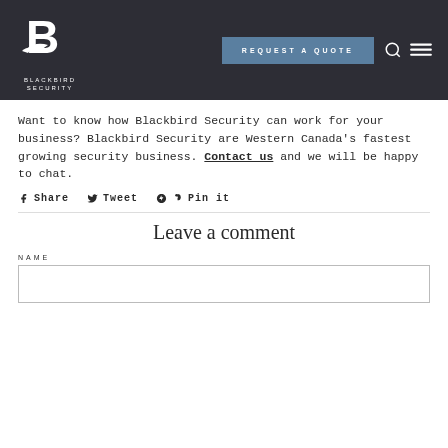BLACKBIRD SECURITY — REQUEST A QUOTE
Want to know how Blackbird Security can work for your business? Blackbird Security are Western Canada's fastest growing security business. Contact us and we will be happy to chat.
Share  Tweet  Pin it
Leave a comment
NAME